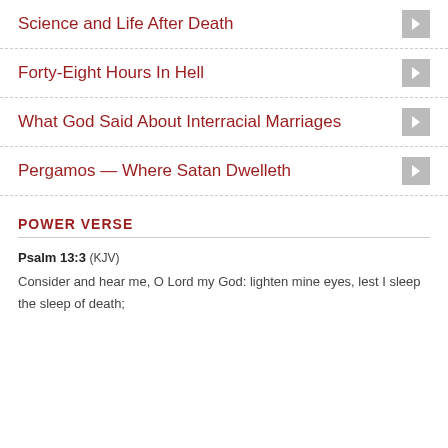Science and Life After Death
Forty-Eight Hours In Hell
What God Said About Interracial Marriages
Pergamos — Where Satan Dwelleth
POWER VERSE
Psalm 13:3 (KJV)
Consider and hear me, O Lord my God: lighten mine eyes, lest I sleep the sleep of death;